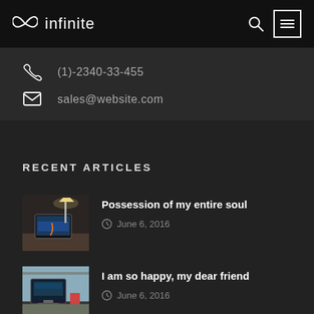∞ infinite
(1)-2340-33-455
sales@website.com
RECENT ARTICLES
[Figure (photo): Laptop on desk with lamp, workspace scene]
Possession of my entire soul
June 6, 2016
[Figure (photo): Office desk with computer monitor]
I am so happy, my dear friend
June 6, 2016